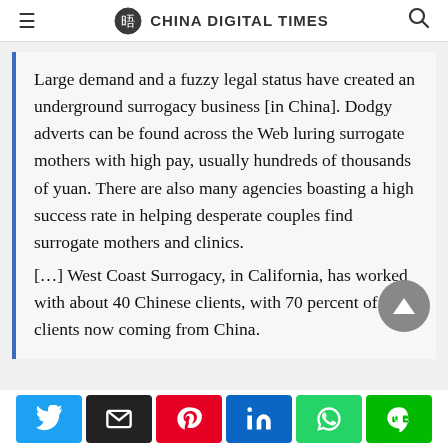CHINA DIGITAL TIMES
Large demand and a fuzzy legal status have created an underground surrogacy business [in China]. Dodgy adverts can be found across the Web luring surrogate mothers with high pay, usually hundreds of thousands of yuan. There are also many agencies boasting a high success rate in helping desperate couples find surrogate mothers and clinics.
[…] West Coast Surrogacy, in California, has worked with about 40 Chinese clients, with 70 percent of their clients now coming from China.
Social share buttons: Twitter, Email, Pinterest, LinkedIn, WhatsApp, Line